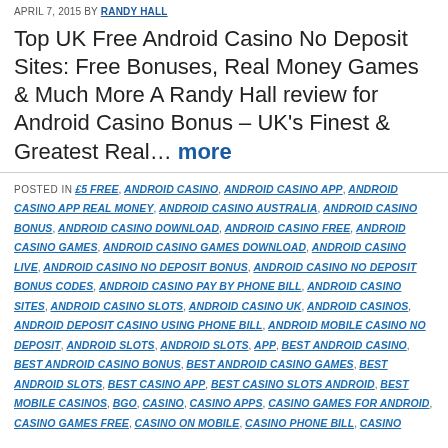APRIL 7, 2015 BY RANDY HALL
Top UK Free Android Casino No Deposit Sites: Free Bonuses, Real Money Games & Much More A Randy Hall review for Android Casino Bonus – UK's Finest & Greatest Real… more
POSTED IN £5 FREE, ANDROID CASINO, ANDROID CASINO APP, ANDROID CASINO APP REAL MONEY, ANDROID CASINO AUSTRALIA, ANDROID CASINO BONUS, ANDROID CASINO DOWNLOAD, ANDROID CASINO FREE, ANDROID CASINO GAMES, ANDROID CASINO GAMES DOWNLOAD, ANDROID CASINO LIVE, ANDROID CASINO NO DEPOSIT BONUS, ANDROID CASINO NO DEPOSIT BONUS CODES, ANDROID CASINO PAY BY PHONE BILL, ANDROID CASINO SITES, ANDROID CASINO SLOTS, ANDROID CASINO UK, ANDROID CASINOS, ANDROID DEPOSIT CASINO USING PHONE BILL, ANDROID MOBILE CASINO NO DEPOSIT, ANDROID SLOTS, ANDROID SLOTS, APP, BEST ANDROID CASINO, BEST ANDROID CASINO BONUS, BEST ANDROID CASINO GAMES, BEST ANDROID SLOTS, BEST CASINO APP, BEST CASINO SLOTS ANDROID, BEST MOBILE CASINOS, BGO, CASINO, CASINO APPS, CASINO GAMES FOR ANDROID, CASINO GAMES FREE, CASINO ON MOBILE, CASINO PHONE BILL, CASINO